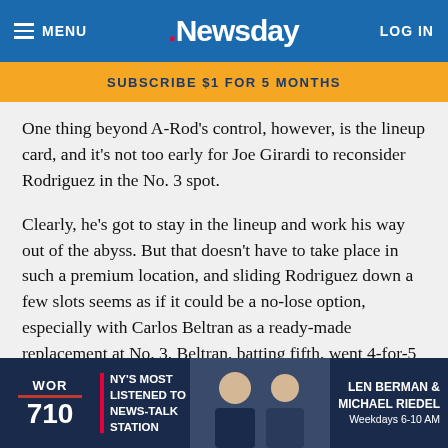MENU · Newsday · LOG IN
SUBSCRIBE $1 FOR 5 MONTHS
One thing beyond A-Rod's control, however, is the lineup card, and it's not too early for Joe Girardi to reconsider Rodriguez in the No. 3 spot.
Clearly, he's got to stay in the lineup and work his way out of the abyss. But that doesn't have to take place in such a premium location, and sliding Rodriguez down a few slots seems as if it could be a no-lose option, especially with Carlos Beltran as a ready-made replacement at No. 3. Beltran, batting fifth, went 4-for-5 with a homer and two doubles on Saturday to improve his slash line to .351/3…
[Figure (advertisement): WOR 710 radio advertisement featuring Len Berman & Michael Riedel, NY's Most Listened To News-Talk Station, Weekdays 6-10 AM]